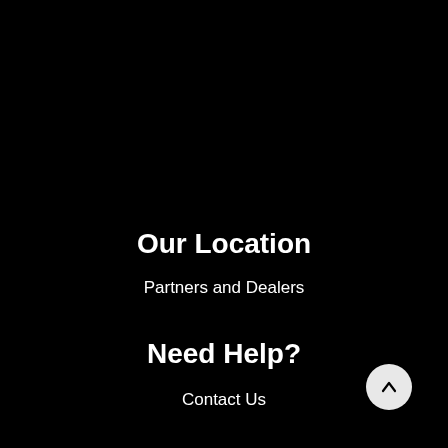Our Location
Partners and Dealers
Need Help?
Contact Us